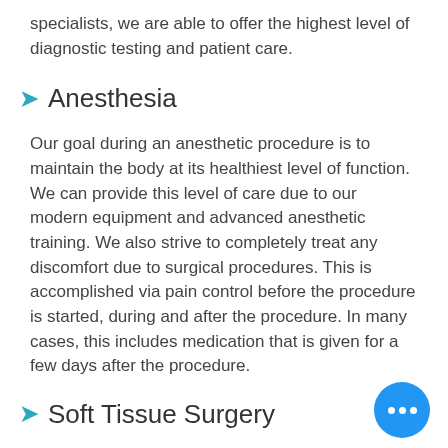specialists, we are able to offer the highest level of diagnostic testing and patient care.
Anesthesia
Our goal during an anesthetic procedure is to maintain the body at its healthiest level of function. We can provide this level of care due to our modern equipment and advanced anesthetic training. We also strive to completely treat any discomfort due to surgical procedures. This is accomplished via pain control before the procedure is started, during and after the procedure. In many cases, this includes medication that is given for a few days after the procedure.
Soft Tissue Surgery